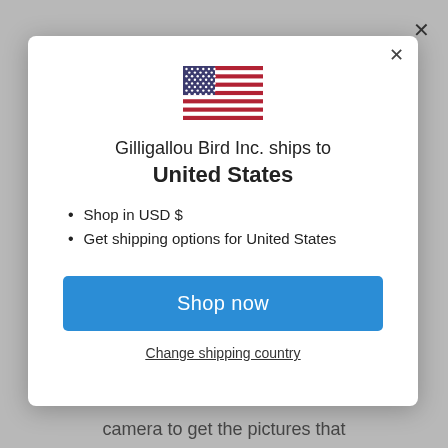[Figure (screenshot): US flag emoji/icon displayed in the modal dialog]
Gilligallou Bird Inc. ships to United States
Shop in USD $
Get shipping options for United States
Shop now
Change shipping country
camera to get the pictures that